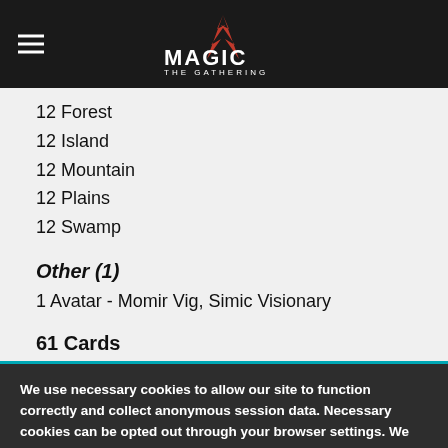Magic: The Gathering
12 Forest
12 Island
12 Mountain
12 Plains
12 Swamp
Other (1)
1 Avatar - Momir Vig, Simic Visionary
61 Cards
We use necessary cookies to allow our site to function correctly and collect anonymous session data. Necessary cookies can be opted out through your browser settings. We also use optional cookies to personalize content and ads, provide social medial features and analyze web traffic. By clicking “OK, I agree,” you consent to optional cookies. (Learn more about cookies.)